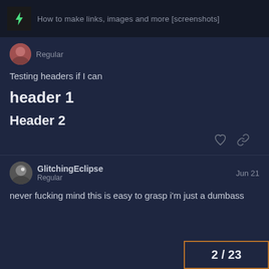How to make links, images and more [screenshots]
Regular
Testing headers if I can
header 1
Header 2
GlitchingEclipse Regular  Jun 21
never fucking mind this is easy to grasp i'm just a dumbass
2 / 23